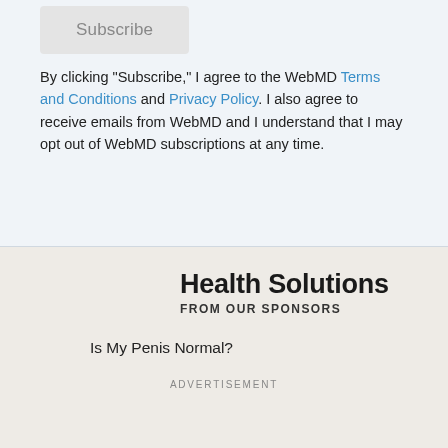Subscribe
By clicking "Subscribe," I agree to the WebMD Terms and Conditions and Privacy Policy. I also agree to receive emails from WebMD and I understand that I may opt out of WebMD subscriptions at any time.
Health Solutions
FROM OUR SPONSORS
Is My Penis Normal?
ADVERTISEMENT